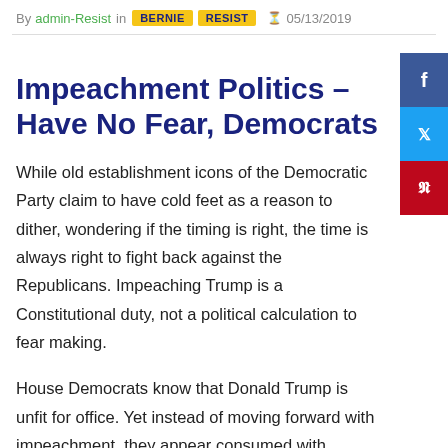By admin-Resist in BERNIE RESIST 05/13/2019
Impeachment Politics – Have No Fear, Democrats
While old establishment icons of the Democratic Party claim to have cold feet as a reason to dither, wondering if the timing is right, the time is always right to fight back against the Republicans. Impeaching Trump is a Constitutional duty, not a political calculation to fear making.
House Democrats know that Donald Trump is unfit for office. Yet instead of moving forward with impeachment, they appear consumed with whether or not they will suffer